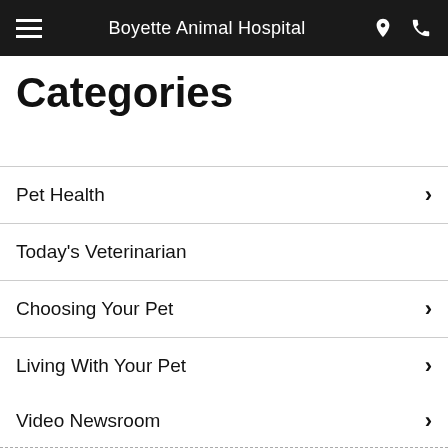Boyette Animal Hospital
Categories
Pet Health
Today's Veterinarian
Choosing Your Pet
Living With Your Pet
Newsletter Library
Video Newsroom
Pets4Kids